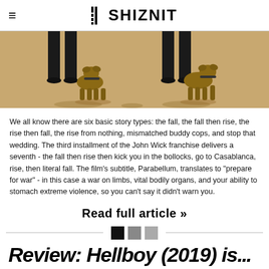THE SHIZNIT
[Figure (photo): Two people walking with two Belgian Malinois dogs on a sandy beach or desert surface, shot from behind showing legs and dogs]
We all know there are six basic story types: the fall, the fall then rise, the rise then fall, the rise from nothing, mismatched buddy cops, and stop that wedding. The third installment of the John Wick franchise delivers a seventh - the fall then rise then kick you in the bollocks, go to Casablanca, rise, then literal fall. The film's subtitle, Parabellum, translates to "prepare for war" - in this case a war on limbs, vital bodily organs, and your ability to stomach extreme violence, so you can't say it didn't warn you.
Read full article »
Review: Hellboy (2019) is... rare